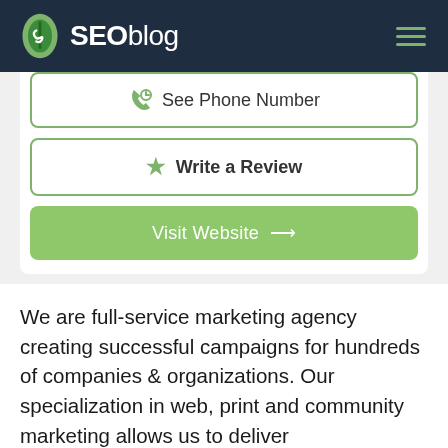SEOblog
[Figure (screenshot): See Phone Number button with phone icon, green border, white background]
[Figure (screenshot): Write a Review button with green star icon, green border, white background]
[Figure (screenshot): Visit Website button with arrow icon, green background, white text]
We are full-service marketing agency creating successful campaigns for hundreds of companies & organizations. Our specialization in web, print and community marketing allows us to deliver comprehensive strategy, design, distribution and marketing services. Our team includes graphic designers, web developers,